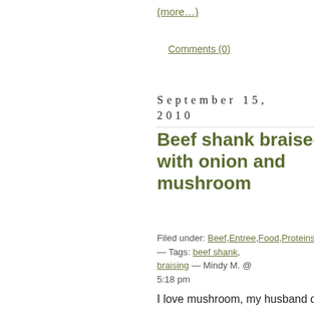(more…)
Comments (0)
September 15, 2010
Beef shank braised with onion and mushroom
Filed under: Beef,Entree,Food,Proteins — Tags: beef shank, braising — Mindy M. @ 5:18 pm
I love mushroom, my husband doesn't so, I'm always trying to sneak it in. I'm allowed to use it as a favor enhancer, he just